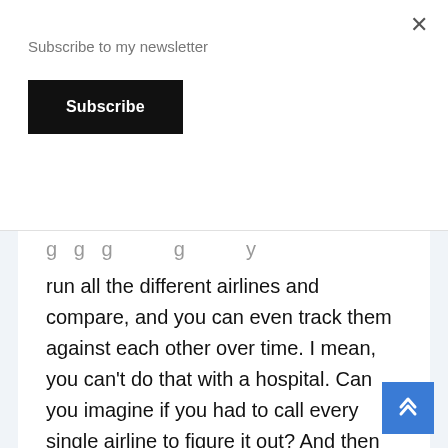Subscribe to my newsletter
Subscribe
× (close button)
g g g g y run all the different airlines and compare, and you can even track them against each other over time. I mean, you can't do that with a hospital. Can you imagine if you had to call every single airline to figure it out? And then some airlines charge more if it's you, and some charge more if it's me. It's not going to work